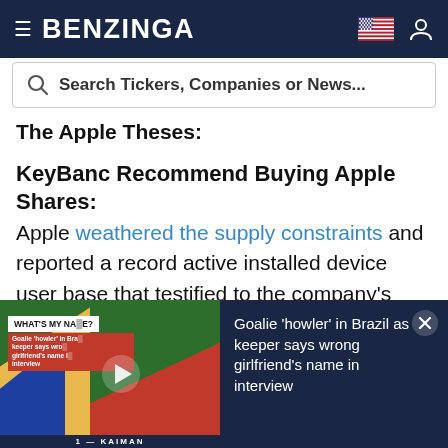BENZINGA
Search Tickers, Companies or News...
The Apple Theses:
KeyBanc Recommend Buying Apple Shares:
Apple weathered the supply constraints and reported a record active installed device user base that testified to the company's durable business model, Nispel said.
As investors focused on the supply chain impact
[Figure (screenshot): Video thumbnail showing soccer players with 'WHAT'S MY NAME?' overlay label and red subtitle text about goalie howler in Brazil]
Goalie 'howler' in Brazil as keeper says wrong girlfriend's name in interview